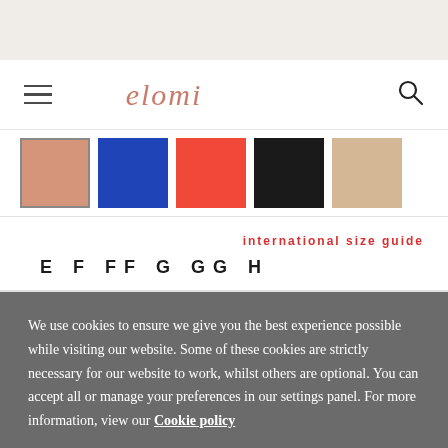[Figure (logo): Elomi brand logo in terracotta/rose italic script, flanked by hamburger menu icon and search icon]
[Figure (other): Five color swatches: nude/salmon (selected with border), royal blue, coral red, black, beige]
international size guide
E  F  FF  G  GG  H
We use cookies to ensure we give you the best experience possible while visiting our website. Some of these cookies are strictly necessary for our website to work, whilst others are optional. You can accept all or manage your preferences in our settings panel. For more information, view our Cookie policy